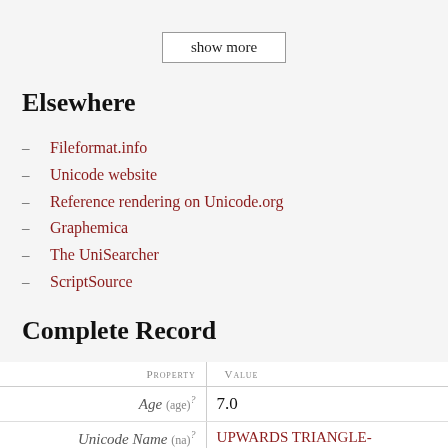show more
Elsewhere
Fileformat.info
Unicode website
Reference rendering on Unicode.org
Graphemica
The UniSearcher
ScriptSource
Complete Record
| Property | Value |
| --- | --- |
| Age (age)? | 7.0 |
| Unicode Name (na)? | UPWARDS TRIANGLE-HEADED ARROW WITH |